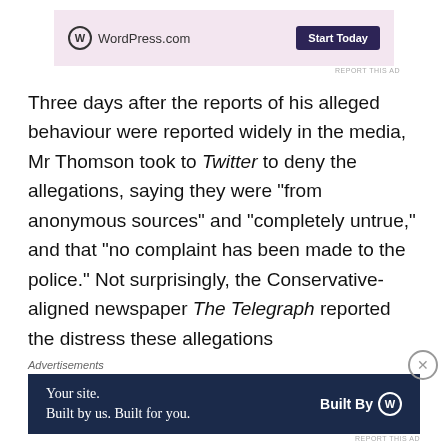[Figure (other): WordPress.com advertisement banner with pink background, WordPress logo, and 'Start Today' dark button]
Three days after the reports of his alleged behaviour were reported widely in the media, Mr Thomson took to Twitter to deny the allegations, saying they were “from anonymous sources” and “completely untrue,” and that “no complaint has been made to the police.” Not surprisingly, the Conservative-aligned newspaper The Telegraph reported the distress these allegations
Advertisements
[Figure (other): WordPress.com advertisement banner with dark navy background: 'Your site. Built by us. Built for you.' and 'Built By' with WordPress logo]